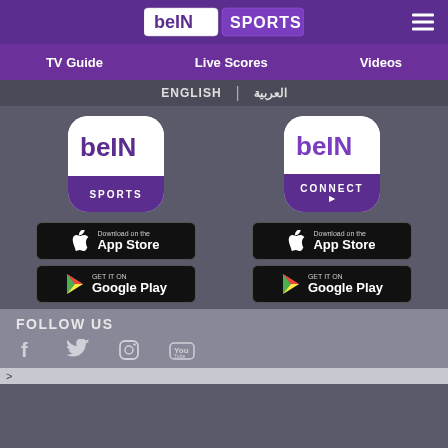beIN SPORTS
TV Guide  Live Scores  Videos
ENGLISH | العربية
[Figure (logo): beIN SPORTS app icon - white top with beIN logo, purple bottom with SPORTS text]
[Figure (logo): beIN CONNECT app icon - white top with beIN logo, purple bottom with CONNECT text and play button]
[Figure (screenshot): Download on the App Store button (black rounded rectangle) - left column]
[Figure (screenshot): Get it on Google Play button (black rounded rectangle) - left column]
[Figure (screenshot): Download on the App Store button (black rounded rectangle) - right column]
[Figure (screenshot): Get it on Google Play button (black rounded rectangle) - right column]
FOLLOW US
[Figure (illustration): Social media icons: Facebook, Twitter, Instagram, YouTube]